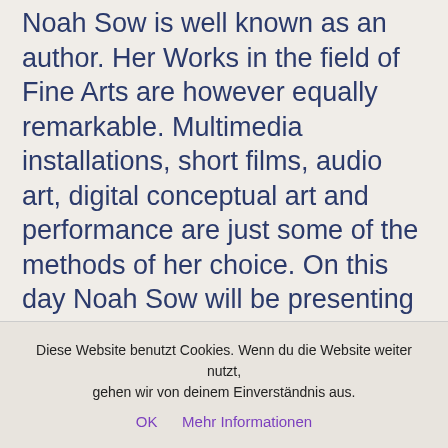Noah Sow is well known as an author. Her Works in the field of Fine Arts are however equally remarkable. Multimedia installations, short films, audio art, digital conceptual art and performance are just some of the methods of her choice. On this day Noah Sow will be presenting some of her works. Noah Sow's philosophy is to produce in as multifaceted a way as possible, so that all persons from the diasporas can choose their own level of approach.

Her work deals with decolonisation, pop,
Diese Website benutzt Cookies. Wenn du die Website weiter nutzt, gehen wir von deinem Einverständnis aus.
OK   Mehr Informationen